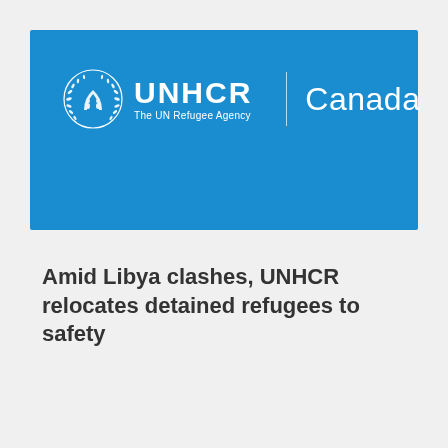[Figure (logo): UNHCR Canada logo on blue banner background. Shows UNHCR torch/shelter icon, UNHCR wordmark, 'The UN Refugee Agency' tagline, vertical divider, and 'Canada' text, all in white on blue.]
Amid Libya clashes, UNHCR relocates detained refugees to safety